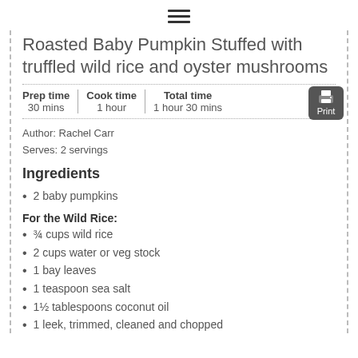☰
Roasted Baby Pumpkin Stuffed with truffled wild rice and oyster mushrooms
| Prep time | Cook time | Total time |
| --- | --- | --- |
| 30 mins | 1 hour | 1 hour 30 mins |
Author: Rachel Carr
Serves: 2 servings
Ingredients
2 baby pumpkins
For the Wild Rice:
¾ cups wild rice
2 cups water or veg stock
1 bay leaves
1 teaspoon sea salt
1½ tablespoons coconut oil
1 leek, trimmed, cleaned and chopped